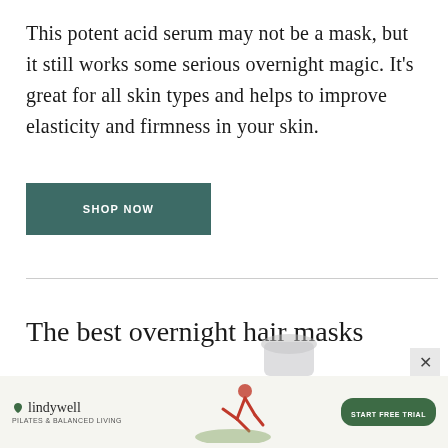This potent acid serum may not be a mask, but it still works some serious overnight magic. It’s great for all skin types and helps to improve elasticity and firmness in your skin.
[Figure (other): SHOP NOW button — rectangular teal/dark-green button with white uppercase text]
The best overnight hair masks
[Figure (other): Lindywell advertisement banner with logo, yoga figure, and START FREE TRIAL button]